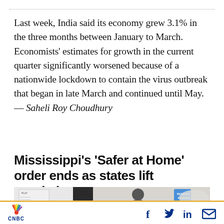Last week, India said its economy grew 3.1% in the three months between January to March. Economists' estimates for growth in the current quarter significantly worsened because of a nationwide lockdown to contain the virus outbreak that began in late March and continued until May. — Saheli Roy Choudhury
Mississippi's 'Safer at Home' order ends as states lift restrictions
[Figure (photo): Partial photo strip showing a storefront/building exterior with a Reserve Parking handicap sign visible, and a person partially visible]
CNBC logo with social media icons (Facebook, Twitter, LinkedIn, Email)